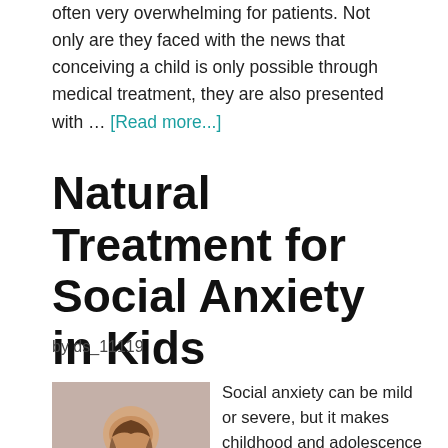often very overwhelming for patients. Not only are they faced with the news that conceiving a child is only possible through medical treatment, they are also presented with … [Read more...]
Natural Treatment for Social Anxiety in Kids
by ds_11119
[Figure (photo): Photo of a child with braided hair seen from behind, wearing a blue top, against a neutral background]
Social anxiety can be mild or severe, but it makes childhood and adolescence more difficult, preventing kids from developing